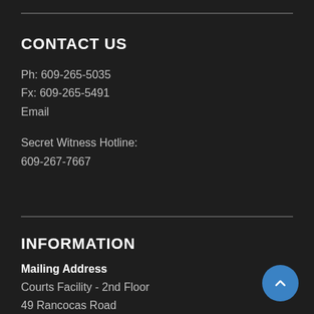CONTACT US
Ph: 609-265-5035
Fx: 609-265-5491
Email
Secret Witness Hotline:
609-267-7667
INFORMATION
Mailing Address
Courts Facility - 2nd Floor
49 Rancocas Road
P.O. Box 6000
Mt. Holly, NJ 08060